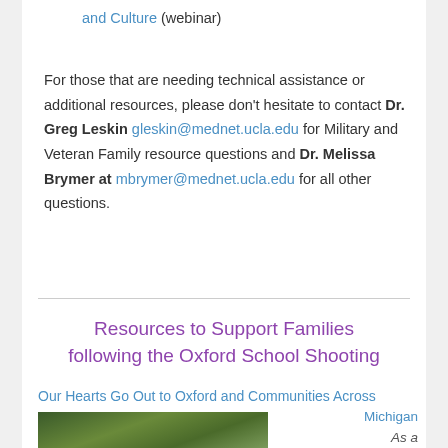and Culture (webinar)
For those that are needing technical assistance or additional resources, please don't hesitate to contact Dr. Greg Leskin gleskin@mednet.ucla.edu for Military and Veteran Family resource questions and Dr. Melissa Brymer at mbrymer@mednet.ucla.edu for all other questions.
Resources to Support Families following the Oxford School Shooting
Our Hearts Go Out to Oxford and Communities Across Michigan
[Figure (photo): Outdoor nature photo showing green foliage and plants]
As a